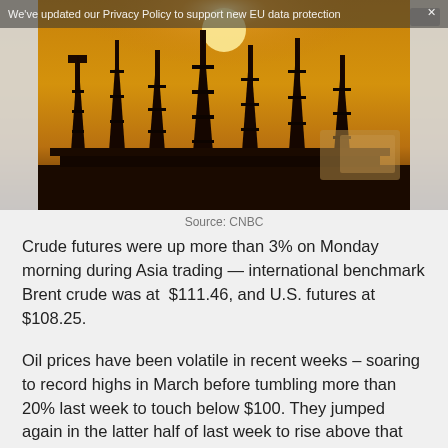[Figure (photo): Silhouette of oil refinery or drilling rigs against a warm orange/amber sunset sky. Dark industrial structures with tall towers visible against glowing background.]
We've updated our Privacy Policy to support new EU data protection
Source: CNBC
Crude futures were up more than 3% on Monday morning during Asia trading — international benchmark Brent crude was at $111.46, and U.S. futures at $108.25.
Oil prices have been volatile in recent weeks – soaring to record highs in March before tumbling more than 20% last week to touch below $100. They jumped again in the latter half of last week to rise above that level.